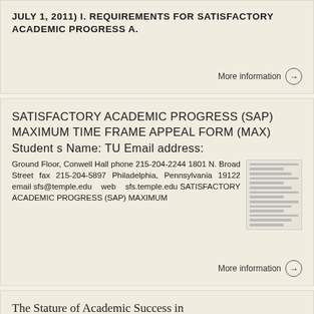JULY 1, 2011) I. REQUIREMENTS FOR SATISFACTORY ACADEMIC PROGRESS A.
More information →
SATISFACTORY ACADEMIC PROGRESS (SAP) MAXIMUM TIME FRAME APPEAL FORM (MAX) Student s Name: TU Email address:
Ground Floor, Conwell Hall phone 215-204-2244 1801 N. Broad Street fax 215-204-5897 Philadelphia, Pennsylvania 19122 email sfs@temple.edu web sfs.temple.edu SATISFACTORY ACADEMIC PROGRESS (SAP) MAXIMUM
More information →
The Stature of Academic Success in California University
STANDARDS OF SATISFACTORY ACADEMIC